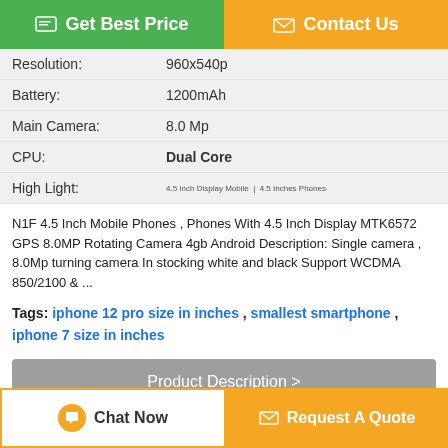[Figure (other): Get Best Price button (green) and Contact Us button (orange)]
| Resolution: | 960x540p |
| Battery: | 1200mAh |
| Main Camera: | 8.0 Mp |
| CPU: | Dual Core |
| High Light: | [small text images] |
N1F 4.5 Inch Mobile Phones , Phones With 4.5 Inch Display MTK6572 GPS 8.0MP Rotating Camera 4gb Android Description: Single camera , 8.0Mp turning camera In stocking white and black Support WCDMA 850/2100 & ...
Tags: iphone 12 pro size in inches , smallest smartphone , iphone 7 size in inches
[Figure (other): Product Description > gray button]
Get the Best Price for
[Figure (other): Chat Now button and Request A Quote button at bottom]